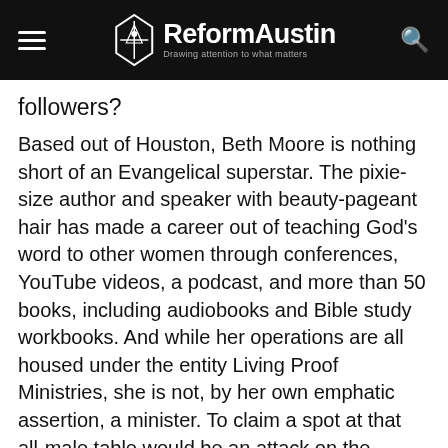ReformAustin — Drawing attention to what matters
followers?
Based out of Houston, Beth Moore is nothing short of an Evangelical superstar. The pixie-size author and speaker with beauty-pageant hair has made a career out of teaching God's word to other women through conferences, YouTube videos, a podcast, and more than 50 books, including audiobooks and Bible study workbooks. And while her operations are all housed under the entity Living Proof Ministries, she is not, by her own emphatic assertion, a minister. To claim a spot at that all-male table would be an attack on the patriarchal order ordained by God. Rather, she insists she is just a woman passionate about the Bible sharing her insights with other ladies. That she happens to espouse a traditional view on gender roles doesn't hurt